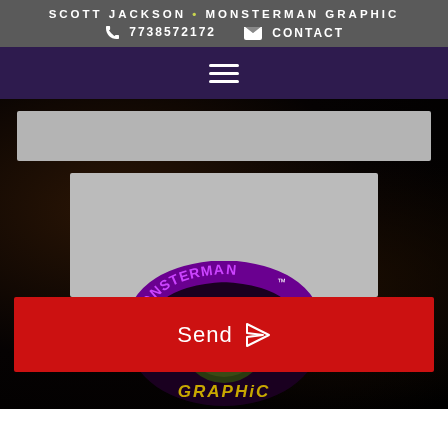SCOTT JACKSON • MONSTERMAN GRAPHIC
7738572172   CONTACT
[Figure (screenshot): Navigation bar with hamburger menu icon on dark purple background]
[Figure (screenshot): Contact form with grey input field and grey textarea on dark background]
[Figure (screenshot): Red Send button with paper airplane icon]
[Figure (logo): Monsterman Graphic logo with monster face, purple and green text on black background]